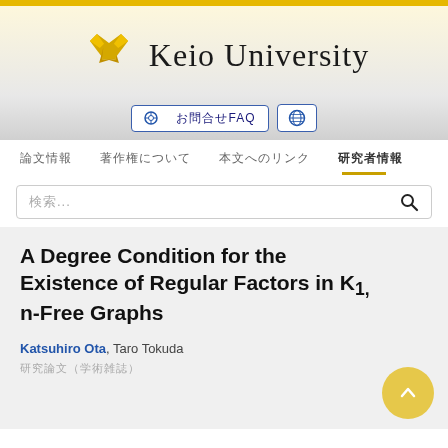[Figure (logo): Keio University logo with crossed pen nibs icon in gold/yellow and text 'Keio University' in serif font]
🌐 お問合せFAQ  🌐
論文情報　著作権について　本文へのリンク　研究者情報
検索...
A Degree Condition for the Existence of Regular Factors in K1, n-Free Graphs
Katsuhiro Ota, Taro Tokuda
研究論文（学術雑誌）